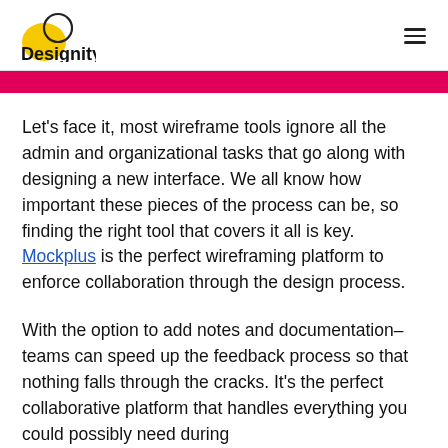Designity
[Figure (other): Pink/magenta horizontal banner bar]
Let’s face it, most wireframe tools ignore all the admin and organizational tasks that go along with designing a new interface. We all know how important these pieces of the process can be, so finding the right tool that covers it all is key. Mockplus is the perfect wireframing platform to enforce collaboration through the design process.
With the option to add notes and documentation–teams can speed up the feedback process so that nothing falls through the cracks. It’s the perfect collaborative platform that handles everything you could possibly need during